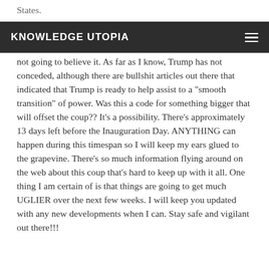States.
KNOWLEDGE UTOPIA
not going to believe it. As far as I know, Trump has not conceded, although there are bullshit articles out there that indicated that Trump is ready to help assist to a "smooth transition" of power. Was this a code for something bigger that will offset the coup?? It's a possibility. There's approximately 13 days left before the Inauguration Day. ANYTHING can happen during this timespan so I will keep my ears glued to the grapevine. There's so much information flying around on the web about this coup that's hard to keep up with it all. One thing I am certain of is that things are going to get much UGLIER over the next few weeks. I will keep you updated with any new developments when I can. Stay safe and vigilant out there!!!